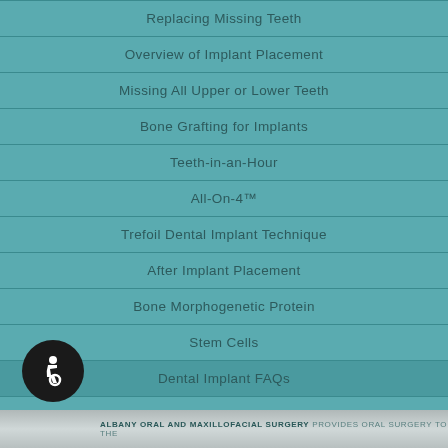Replacing Missing Teeth
Overview of Implant Placement
Missing All Upper or Lower Teeth
Bone Grafting for Implants
Teeth-in-an-Hour
All-On-4™
Trefoil Dental Implant Technique
After Implant Placement
Bone Morphogenetic Protein
Stem Cells
Dental Implant FAQs
ALBANY ORAL AND MAXILLOFACIAL SURGERY PROVIDES ORAL SURGERY TO THE